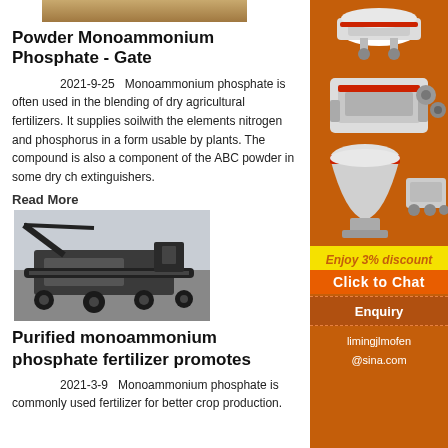[Figure (photo): Top image of powder/grain material, brownish color]
Powder Monoammonium Phosphate - Gate
2021-9-25   Monoammonium phosphate is often used in the blending of dry agricultural fertilizers. It supplies soilwith the elements nitrogen and phosphorus in a form usable by plants. The compound is also a component of the ABC powder in some dry ch... extinguishers.
Read More
[Figure (photo): Mining/crushing machinery in an open pit quarry setting, black and grey industrial equipment]
Purified monoammonium phosphate fertilizer promotes
2021-3-9   Monoammonium phosphate is... commonly used fertilizer for better crop production.
[Figure (photo): Sidebar advertisement: orange background with white industrial machinery (crushers), yellow discount banner, chat button, enquiry and email contact]
Enjoy 3% discount
Click to Chat
Enquiry
limingjlmofen@sina.com